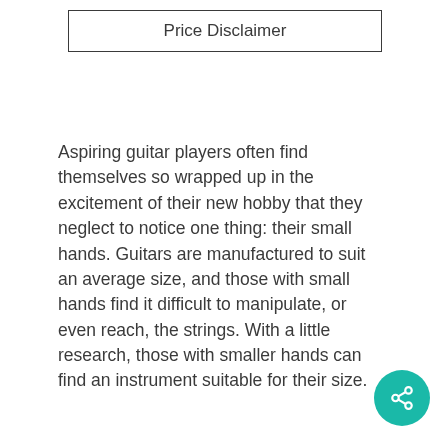Price Disclaimer
Aspiring guitar players often find themselves so wrapped up in the excitement of their new hobby that they neglect to notice one thing: their small hands. Guitars are manufactured to suit an average size, and those with small hands find it difficult to manipulate, or even reach, the strings. With a little research, those with smaller hands can find an instrument suitable for their size.